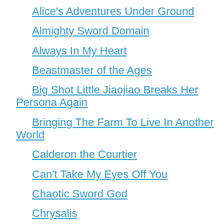Alice's Adventures Under Ground
Almighty Sword Domain
Always In My Heart
Beastmaster of the Ages
Big Shot Little Jiaojiao Breaks Her Persona Again
Bringing The Farm To Live In Another World
Calderon the Courtier
Can't Take My Eyes Off You
Chaotic Sword God
Chrysalis
Crazy Leveling System
Cultivation Chat Group
Cultivation! My Augmented Statuses Have